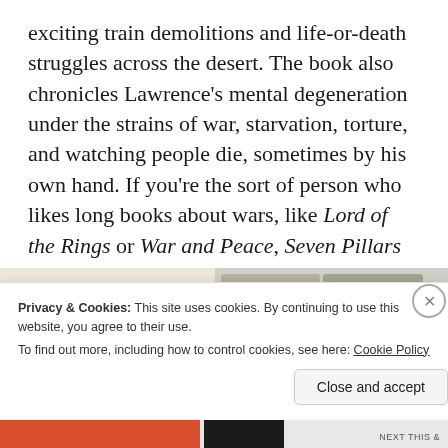exciting train demolitions and life-or-death struggles across the desert. The book also chronicles Lawrence's mental degeneration under the strains of war, starvation, torture, and watching people die, sometimes by his own hand. If you're the sort of person who likes long books about wars, like Lord of the Rings or War and Peace, Seven Pillars of Wisdom should be right up your alley.
[Figure (photo): Partial image of food photography / cookbook style images showing various dishes in small thumbnails against a light background]
Privacy & Cookies: This site uses cookies. By continuing to use this website, you agree to their use.
To find out more, including how to control cookies, see here: Cookie Policy
Close and accept